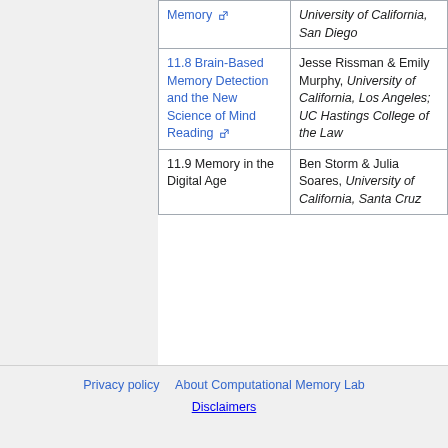| Chapter | Author(s) |
| --- | --- |
| Memory [link] | University of California, San Diego |
| 11.8 Brain-Based Memory Detection and the New Science of Mind Reading [link] | Jesse Rissman & Emily Murphy, University of California, Los Angeles; UC Hastings College of the Law |
| 11.9 Memory in the Digital Age | Ben Storm & Julia Soares, University of California, Santa Cruz |
Privacy policy   About Computational Memory Lab

Disclaimers